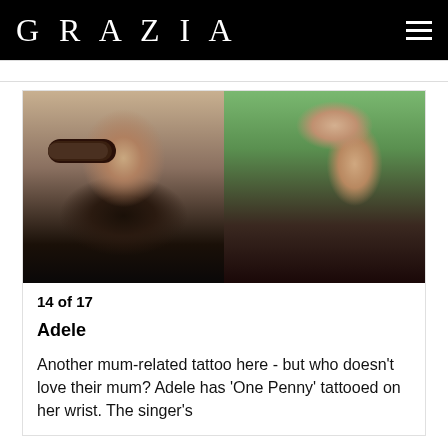GRAZIA
[Figure (photo): Side-by-side photos of Adele: left photo shows her wearing sunglasses, right photo shows her raising her hand showing a wrist tattoo]
14 of 17
Adele
Another mum-related tattoo here - but who doesn't love their mum? Adele has 'One Penny' tattooed on her wrist. The singer's